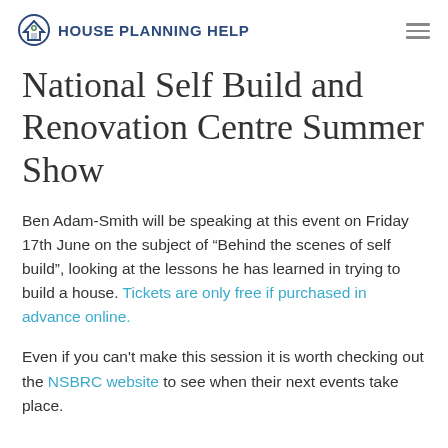House Planning Help
National Self Build and Renovation Centre Summer Show
Ben Adam-Smith will be speaking at this event on Friday 17th June on the subject of “Behind the scenes of self build”, looking at the lessons he has learned in trying to build a house. Tickets are only free if purchased in advance online.
Even if you can’t make this session it is worth checking out the NSBRC website to see when their next events take place.